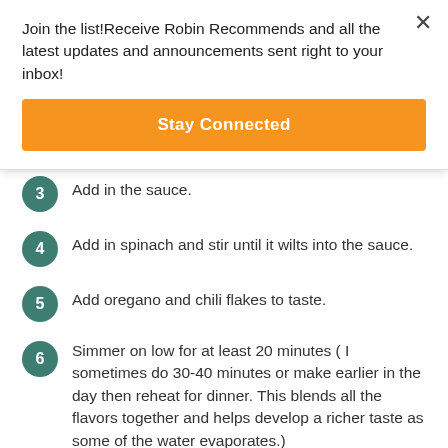Join the list!Receive Robin Recommends and all the latest updates and announcements sent right to your inbox!
[Figure (other): Orange 'Stay Connected' button]
3  Add in the sauce.
4  Add in spinach and stir until it wilts into the sauce.
5  Add oregano and chili flakes to taste.
6  Simmer on low for at least 20 minutes ( I sometimes do 30-40 minutes or make earlier in the day then reheat for dinner. This blends all the flavors together and helps develop a richer taste as some of the water evaporates.)